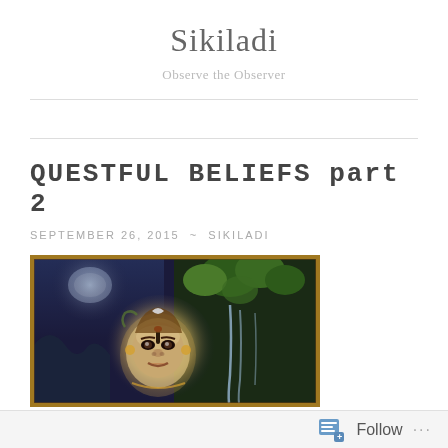Sikiladi
Observe the Observer
QUESTFUL BELIEFS part 2
SEPTEMBER 26, 2015 ~ SIKILADI
[Figure (illustration): Painting of a Hindu deity (Shiva) with a serene expression, set against a dark background with a moon, green foliage, and waterfalls. The image has a decorative golden-brown border.]
Follow ...